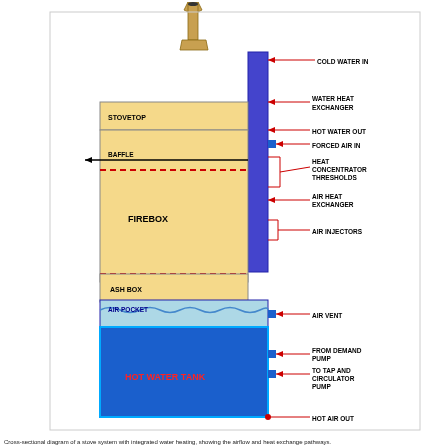[Figure (engineering-diagram): Cross-sectional engineering diagram of a wood stove system with integrated hot water tank. Shows from top to bottom: a flue/chimney pipe at top, cold water in connection, water heat exchanger, hot water out, forced air in port, heat concentrator thresholds (baffle area with dashed red line), air heat exchanger, air injectors, firebox chamber, ash box, air pocket, hot water tank, and connections for from demand pump, to tap and circulator pump, hot air out at bottom. Labels are on the right side with arrows pointing to components. The main body sections are: stovetop (yellow/tan), firebox (yellow/tan), ash box, air pocket (light blue with wavy line), and hot water tank (bright blue). A vertical blue heat exchanger column runs on the right side of the main body.]
Cross-sectional diagram of a stove system with integrated water heating, showing the airflow and heat exchange pathways.